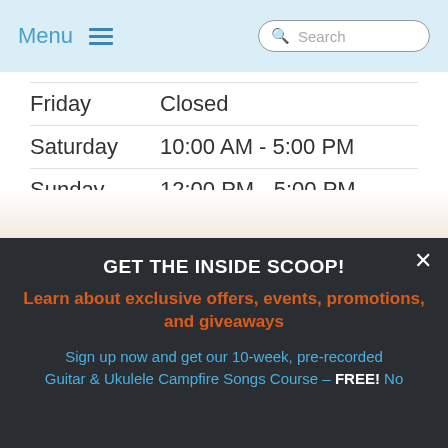Menu  Search
Friday   Closed
Saturday   10:00 AM - 5:00 PM
Sunday   12:00 PM - 5:00 PM
Contact Info
12345 North Street
GET THE INSIDE SCOOP!
Learn about exclusive offers, events, promotions, and giveaways
Sign up now and get our 10-week, pre-recorded Guitar & Ukulele Campfire Songs Course - FREE! No